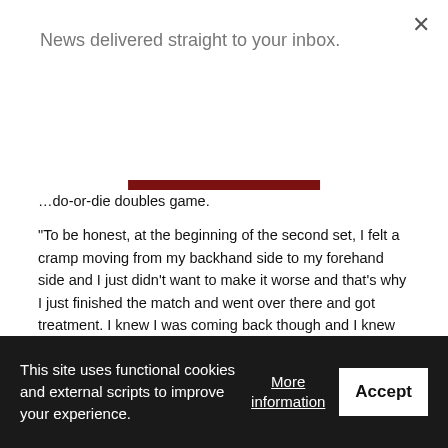News delivered straight to your inbox.
[Figure (other): Subscribe button — dark red rectangular button with white bold text 'Subscribe']
…do-or-die doubles game.
“To be honest, at the beginning of the second set, I felt a cramp moving from my backhand side to my forehand side and I just didn’t want to make it worse and that’s why I just finished the match and went over there and got treatment. I knew I was coming back though and I knew I’m going to fight back to get into the court and give it my all for everyone,”
Like Race, he also thanked the staff at the medical tent for getting him ready for the deciding doubles match.
This site uses functional cookies and external scripts to improve your experience.
More information
Accept